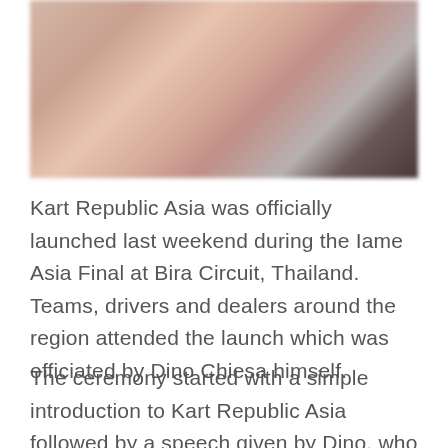[Figure (photo): A blurred/out-of-focus photo showing warm pinkish and beige tones with a dark area on the right side, appearing to be people at an event. The image is cropped and partially visible at the top of the page.]
Kart Republic Asia was officially launched last weekend during the Iame Asia Final at Bira Circuit, Thailand. Teams, drivers and dealers around the region attended the launch which was officiated by Dino Chiesa himself.
The ceremony started with a simple introduction to Kart Republic Asia followed by a speech given by Dino, who explained his philosophy and vision for the brand, his hopes for making Kart